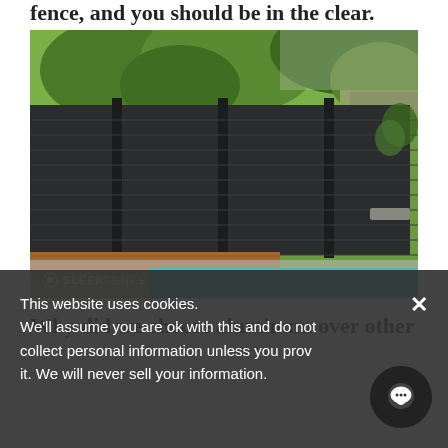fence, and you should be in the clear.
[Figure (photo): A dark charcoal aluminum privacy fence alongside a swimming pool area with a wooden deck, lush green trees in the background, and a house visible on the right. SLEEKFENCE watermark visible at bottom left.]
Why did we choose aluminum over other
This website uses cookies.
We'll assume you are ok with this and do not collect personal information unless you provide it. We will never sell your information.